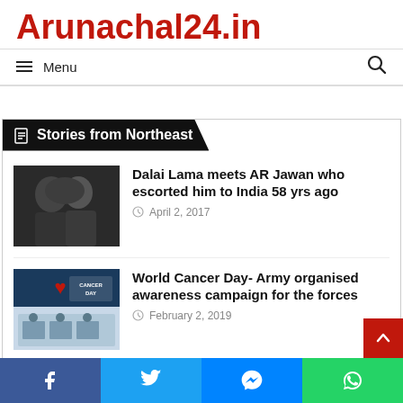Arunachal24.in
Menu
Stories from Northeast
[Figure (photo): Photo of Dalai Lama meeting AR Jawan, two people embracing]
Dalai Lama meets AR Jawan who escorted him to India 58 yrs ago
April 2, 2017
[Figure (photo): Photo of World Cancer Day event with Army, Red ribbon banner visible, people gathered around tables]
World Cancer Day- Army organised awareness campaign for the forces
February 2, 2019